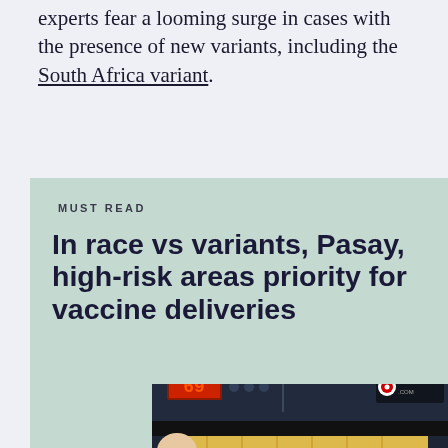experts fear a looming surge in cases with the presence of new variants, including the South Africa variant.
MUST READ
In race vs variants, Pasay, high-risk areas priority for vaccine deliveries
[Figure (photo): Person in blue uniform loading or retrieving vaccine boxes from a refrigerated storage unit with a digital temperature display reading 69. A Rappler.com logo watermark is visible in the top right corner.]